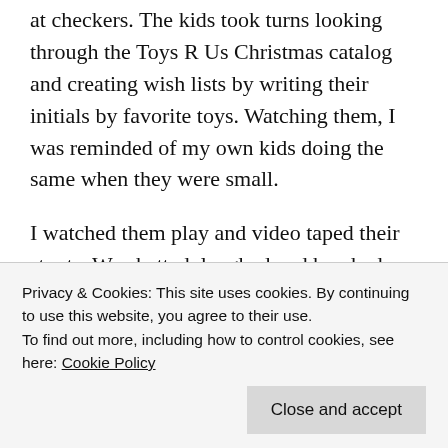at checkers. The kids took turns looking through the Toys R Us Christmas catalog and creating wish lists by writing their initials by favorite toys. Watching them, I was reminded of my own kids doing the same when they were small.
I watched them play and video taped their stunts. We chatted, laughed and brushed our teeth together. After lights out we curled up on our makeshift beds to watch Home Alone.
Nate and Megan have been together for about a year and a half. The bliss of a simple relationship...
Privacy & Cookies: This site uses cookies. By continuing to use this website, you agree to their use.
To find out more, including how to control cookies, see here: Cookie Policy
Close and accept